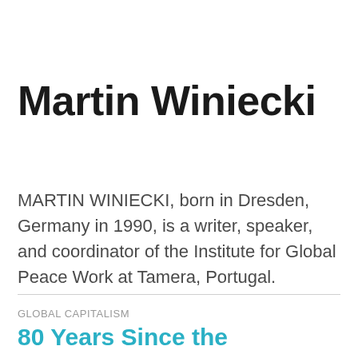Martin Winiecki
MARTIN WINIECKI, born in Dresden, Germany in 1990, is a writer, speaker, and coordinator of the Institute for Global Peace Work at Tamera, Portugal.
GLOBAL CAPITALISM
80 Years Since the